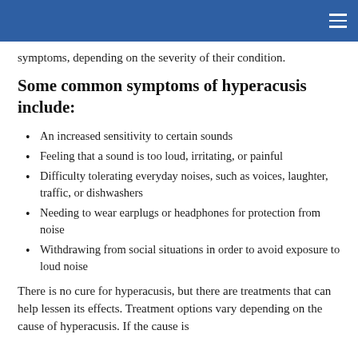symptoms, depending on the severity of their condition.
Some common symptoms of hyperacusis include:
An increased sensitivity to certain sounds
Feeling that a sound is too loud, irritating, or painful
Difficulty tolerating everyday noises, such as voices, laughter, traffic, or dishwashers
Needing to wear earplugs or headphones for protection from noise
Withdrawing from social situations in order to avoid exposure to loud noise
There is no cure for hyperacusis, but there are treatments that can help lessen its effects. Treatment options vary depending on the cause of hyperacusis. If the cause is